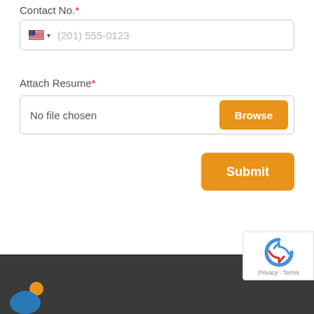Contact No.*
[Figure (screenshot): Phone number input field with US flag dropdown and placeholder text '(201) 555-0123']
Attach Resume*
[Figure (screenshot): File upload input field showing 'No file chosen' with an orange 'Browse' button]
[Figure (screenshot): Orange 'Submit' button aligned to the right]
Footer bar with reCAPTCHA badge showing Privacy · Terms, and a logo on the bottom left